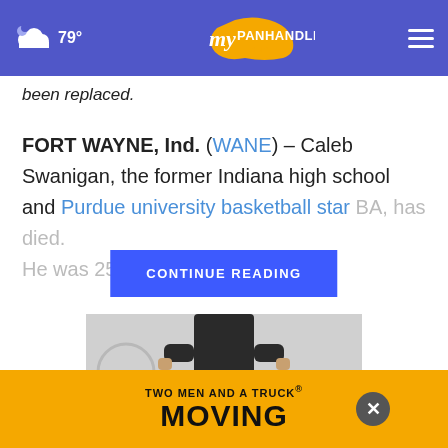myPanhandle.com — 79° weather
been replaced.
FORT WAYNE, Ind. (WANE) – Caleb Swanigan, the former Indiana high school and Purdue university basketball star [CONTINUE READING] BA, has died. He was 25.
[Figure (photo): Photo of a basketball player in a black jersey, cropped to torso]
TWO MEN AND A TRUCK. MOVING